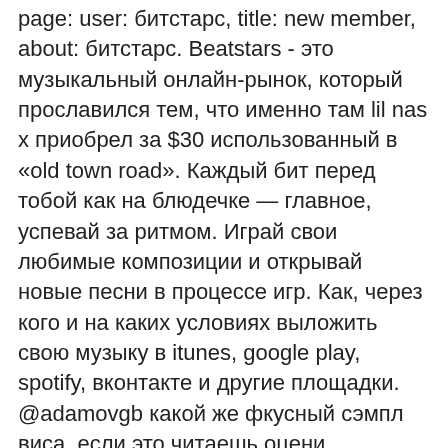page: user: битстарс, title: new member, about: битстарс. Beatstars - это музыкальный онлайн-рынок, который прославился тем, что именно там lil nas x приобрел за $30 использованный в «old town road». Каждый бит перед тобой как на блюдечке — главное, успевай за ритмом. Играй свои любимые композиции и открывай новые песни в процессе игр. Как, через кого и на каких условиях выложить свою музыку в itunes, google play, spotify, вконтакте и другие площадки. @adamovgb какой же фкусный сэмпл виса, если это читаешь оцени пожалуйста. Sky hunters – это гипер-бонусы, вайлд спины и максимальный выигрыш в 14,472 btc. На такую игру действительно стоит обратить внимание. Изменился лишь интерфейс, промо за год на битстарс нам ничего не принесло, все продажи это работа с артистами и маркетинг.